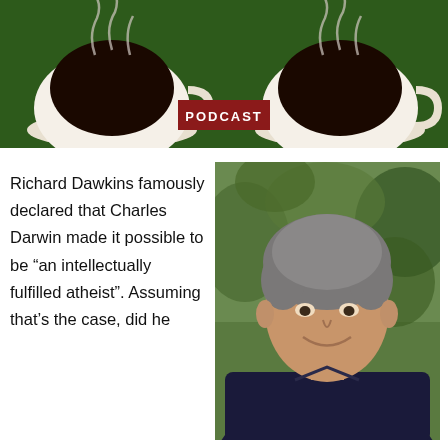[Figure (photo): Podcast banner with two steaming coffee cups on a green background and a dark red 'PODCAST' badge in the center]
Richard Dawkins famously declared that Charles Darwin made it possible to be “an intellectually fulfilled atheist”. Assuming that’s the case, did he
[Figure (photo): Headshot of a middle-aged man with short grey-brown hair, smiling, wearing a dark navy polo shirt, outdoors with green foliage background]